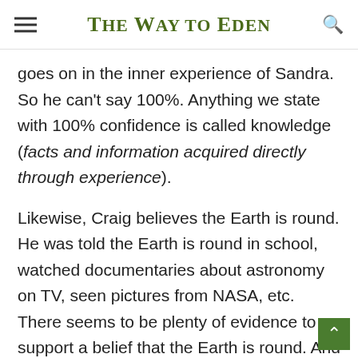The Way to Eden
goes on in the inner experience of Sandra. So he can't say 100%. Anything we state with 100% confidence is called knowledge (facts and information acquired directly through experience).
Likewise, Craig believes the Earth is round. He was told the Earth is round in school, watched documentaries about astronomy on TV, seen pictures from NASA, etc. There seems to be plenty of evidence to support a belief that the Earth is round. And at the